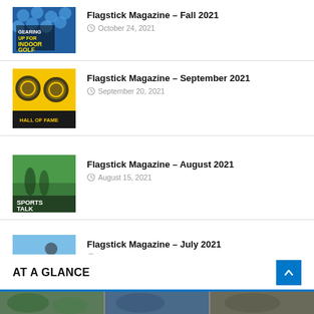Flagstick Magazine – Fall 2021 · October 24, 2021
Flagstick Magazine – September 2021 · September 20, 2021
Flagstick Magazine – August 2021 · August 15, 2021
Flagstick Magazine – July 2021 · July 11, 2021
AT A GLANCE